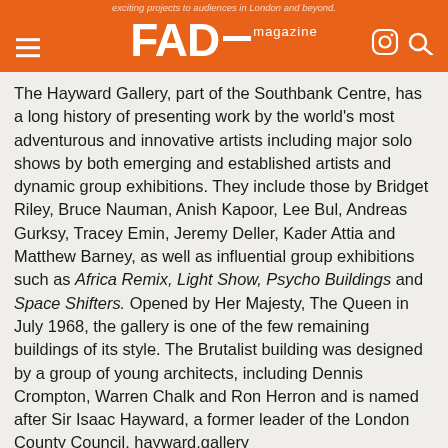FAD magazine
The Hayward Gallery, part of the Southbank Centre, has a long history of presenting work by the world's most adventurous and innovative artists including major solo shows by both emerging and established artists and dynamic group exhibitions. They include those by Bridget Riley, Bruce Nauman, Anish Kapoor, Lee Bul, Andreas Gurksy, Tracey Emin, Jeremy Deller, Kader Attia and Matthew Barney, as well as influential group exhibitions such as Africa Remix, Light Show, Psycho Buildings and Space Shifters. Opened by Her Majesty, The Queen in July 1968, the gallery is one of the few remaining buildings of its style. The Brutalist building was designed by a group of young architects, including Dennis Crompton, Warren Chalk and Ron Herron and is named after Sir Isaac Hayward, a former leader of the London County Council. hayward.gallery
Categories